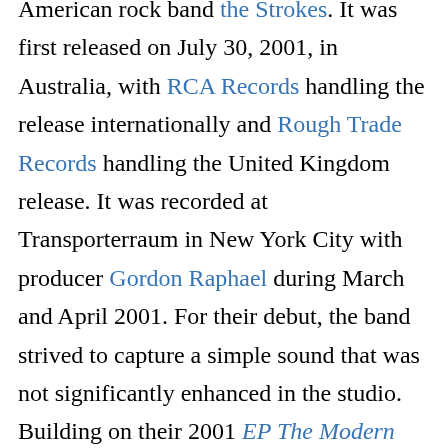American rock band the Strokes. It was first released on July 30, 2001, in Australia, with RCA Records handling the release internationally and Rough Trade Records handling the United Kingdom release. It was recorded at Transporterraum in New York City with producer Gordon Raphael during March and April 2001. For their debut, the band strived to capture a simple sound that was not significantly enhanced in the studio. Building on their 2001 EP The Modern Age, the band members molded compositions largely through live takes during recording sessions, while songwriter and lead singer Julian Casablancas continued to detail the lives and relationships of others as the...